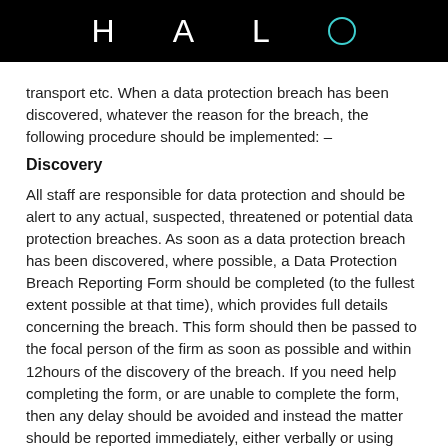HALO
transport etc. When a data protection breach has been discovered, whatever the reason for the breach, the following procedure should be implemented: –
Discovery
All staff are responsible for data protection and should be alert to any actual, suspected, threatened or potential data protection breaches. As soon as a data protection breach has been discovered, where possible, a Data Protection Breach Reporting Form should be completed (to the fullest extent possible at that time), which provides full details concerning the breach. This form should then be passed to the focal person of the firm as soon as possible and within 12hours of the discovery of the breach. If you need help completing the form, or are unable to complete the form, then any delay should be avoided and instead the matter should be reported immediately, either verbally or using electronic means, such as email.
Once a data protection breach has been reported, an initial assessment will be made concerning the content, quality of data involved and the potential impact and risk of the breach.